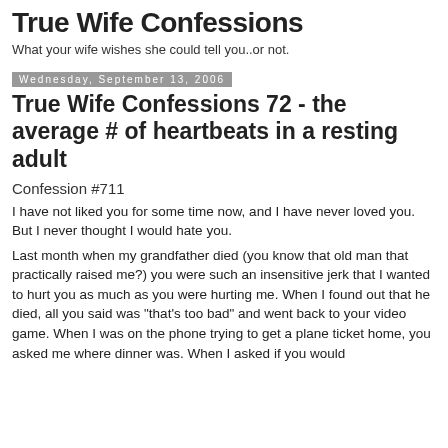True Wife Confessions
What your wife wishes she could tell you..or not.
Wednesday, September 13, 2006
True Wife Confessions 72 - the average # of heartbeats in a resting adult
Confession #711
I have not liked you for some time now, and I have never loved you. But I never thought I would hate you.
Last month when my grandfather died (you know that old man that practically raised me?) you were such an insensitive jerk that I wanted to hurt you as much as you were hurting me. When I found out that he died, all you said was "that's too bad" and went back to your video game. When I was on the phone trying to get a plane ticket home, you asked me where dinner was. When I asked if you would come with me you said I'll be gone too long to decide and I can't